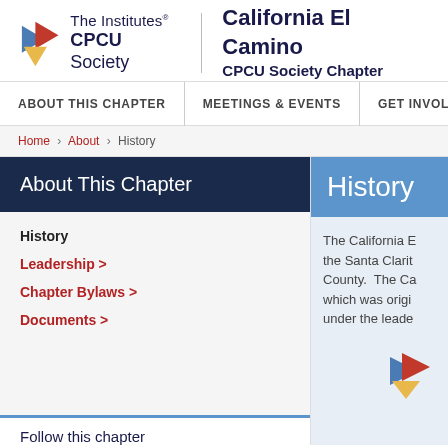[Figure (logo): The Institutes CPCU Society logo with colored arrow triangles]
California El Camino CPCU Society Chapter
ABOUT THIS CHAPTER | MEETINGS & EVENTS | GET INVOL
Home > About > History
About This Chapter
History
History
Leadership >
Chapter Bylaws >
Documents >
The California E… the Santa Clarit… County.  The Ca… which was origi… under the leade…
Follow this chapter